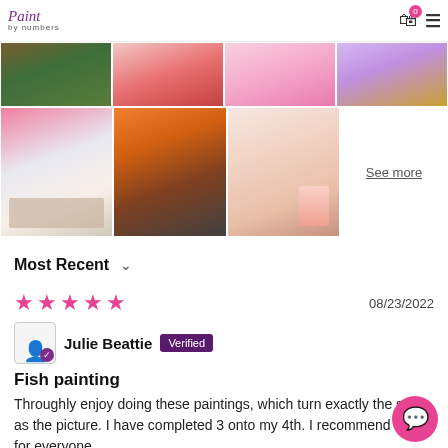Paint by numbers | 0 | menu
[Figure (photo): Grid of 6 photos showing paint-by-numbers artwork: flamingo, owl face, pink bird, decorative pattern top row; art supplies/canvas workspace, colorful owl painting, flamingo on canvas bottom row]
See more
Most Recent ∨
★★★★★  08/23/2022
Julie Beattie  Verified
Fish painting
Throughly enjoy doing these paintings, which turn exactly the same as the picture. I have completed 3 onto my 4th. I recommend these for everyone.